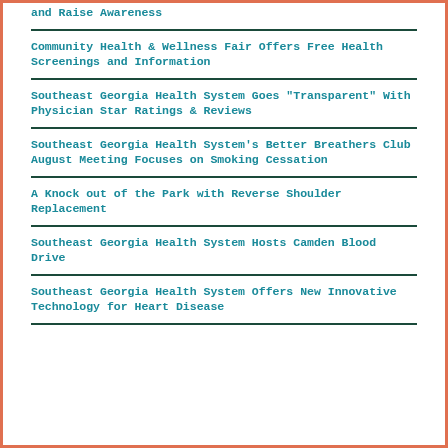and Raise Awareness
Community Health & Wellness Fair Offers Free Health Screenings and Information
Southeast Georgia Health System Goes "Transparent" With Physician Star Ratings & Reviews
Southeast Georgia Health System's Better Breathers Club August Meeting Focuses on Smoking Cessation
A Knock out of the Park with Reverse Shoulder Replacement
Southeast Georgia Health System Hosts Camden Blood Drive
Southeast Georgia Health System Offers New Innovative Technology for Heart Disease